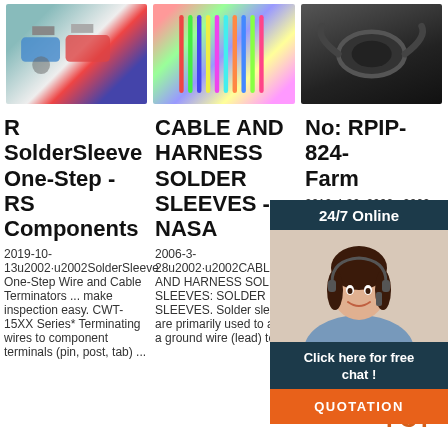[Figure (photo): Three product images at top: wire terminals/connectors, colorful cables bundle, black flexible conduit/hose]
R SolderSleeve One-Step - RS Components
CABLE AND HARNESS SOLDER SLEEVES - NASA
No: RPIP-824-... Farm...
2019-10-13u2002·u2002SolderSleeve One-Step Wire and Cable Terminators ... make inspection easy. CWT-15XX Series* Terminating wires to component terminals (pin, post, tab) ...
2006-3-28u2002·u2002CABLE AND HARNESS SOLDER SLEEVES: SOLDER SLEEVES. Solder sleeves are primarily used to attach a ground wire (lead) to the
2010-4-30u2002·u2002 One-Step And Cable Termina... Installation Proce... CWT R... Introduction ... make inspection easy. 2. Application Equipment ... insulation must end between the
[Figure (photo): Chat widget with customer service representative, 24/7 Online header, Click here for free chat button, QUOTATION button]
[Figure (logo): TOP logo with orange triangle dots above orange TOP text]